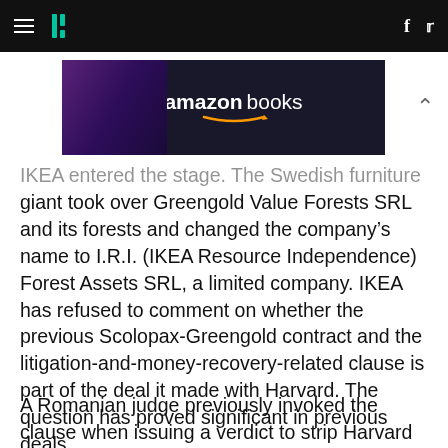HuffPost navigation with hamburger menu, logo, Facebook and Twitter icons
[Figure (photo): Amazon Books advertisement banner showing a woman and Amazon Books logo on dark background]
IKEA entered the stage. The Swedish furniture giant took over Greengold Value Forests SRL and its forests and changed the company’s name to I.R.I. (IKEA Resource Independence) Forest Assets SRL, a limited company. IKEA has refused to comment on whether the previous Scolopax-Greengold contract and the litigation-and-money-recovery-related clause is part of the deal it made with Harvard. The question has proved significant in previous deals.
A Romanian judge previously invoked the clause when issuing a verdict to strip Harvard of one of